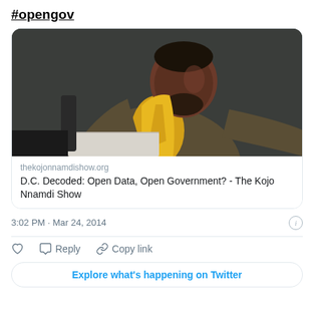#opengov
[Figure (photo): Photo of a man in a yellow shirt and brown blazer sitting at a desk, looking to the side, against a dark background. Embedded Twitter card preview for thekojonnamdishow.org.]
thekojonnamdishow.org
D.C. Decoded: Open Data, Open Government? - The Kojo Nnamdi Show
3:02 PM · Mar 24, 2014
Reply   Copy link
Explore what's happening on Twitter